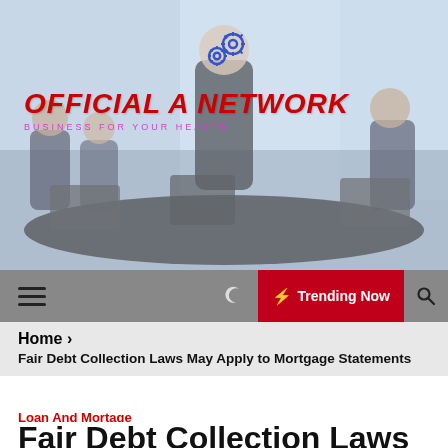[Figure (photo): Business meeting scene with people around a conference table, one person standing presenting. Background shows city view through large windows.]
OFFICIAL A NETWORK
BUSINESS FOR YOUR HEALTH
⚙
≡  ☽  ⚡ Trending Now  🔍
Home >
Fair Debt Collection Laws May Apply to Mortgage Statements
Loan And Mortage
Fair Debt Collection Laws...